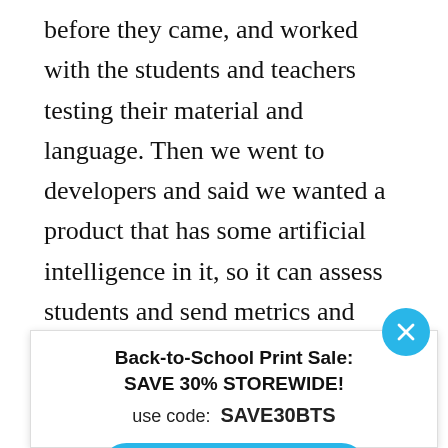before they came, and worked with the students and teachers testing their material and language. Then we went to developers and said we wanted a product that has some artificial intelligence in it, so it can assess students and send metrics and data back to the teachers or us, the company, and so that it can house a content-rich
[Figure (other): Promotional overlay popup with close button (blue circle with X), heading 'Back-to-School Print Sale: SAVE 30% STOREWIDE!', promo code 'use code: SAVE30BTS', and a blue rounded button 'SAVE 30% NOW']